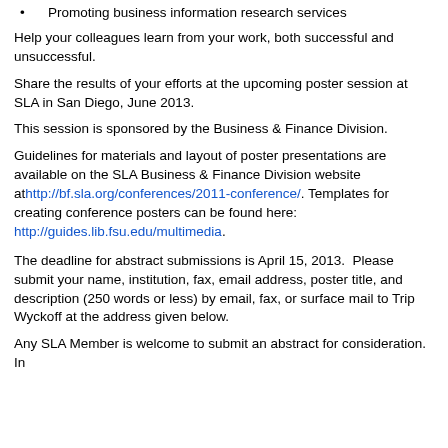Promoting business information research services
Help your colleagues learn from your work, both successful and unsuccessful.
Share the results of your efforts at the upcoming poster session at SLA in San Diego, June 2013.
This session is sponsored by the Business & Finance Division.
Guidelines for materials and layout of poster presentations are available on the SLA Business & Finance Division website at http://bf.sla.org/conferences/2011-conference/. Templates for creating conference posters can be found here: http://guides.lib.fsu.edu/multimedia.
The deadline for abstract submissions is April 15, 2013.  Please submit your name, institution, fax, email address, poster title, and description (250 words or less) by email, fax, or surface mail to Trip Wyckoff at the address given below.
Any SLA Member is welcome to submit an abstract for consideration. In